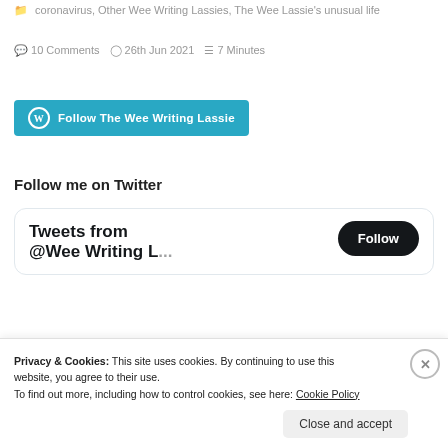coronavirus, Other Wee Writing Lassies, The Wee Lassie's unusual life
10 Comments   26th Jun 2021   7 Minutes
[Figure (other): Follow The Wee Writing Lassie button with WordPress logo, teal background]
Follow me on Twitter
[Figure (screenshot): Twitter widget showing 'Tweets from @WeeWritingL...' with a Follow button]
Privacy & Cookies: This site uses cookies. By continuing to use this website, you agree to their use.
To find out more, including how to control cookies, see here: Cookie Policy
Close and accept